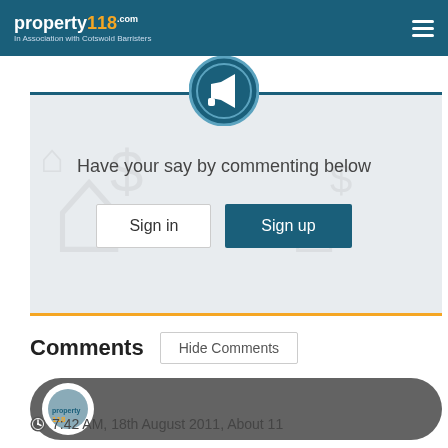property118.com — In Association with Cotswold Barristers
[Figure (screenshot): Call-to-action banner with megaphone icon, text 'Have your say by commenting below', Sign in and Sign up buttons]
Comments
Hide Comments
[Figure (screenshot): Comment card with user avatar (property118 logo thumbnail) on dark gray pill-shaped background]
7:42 AM, 18th August 2011, About 11